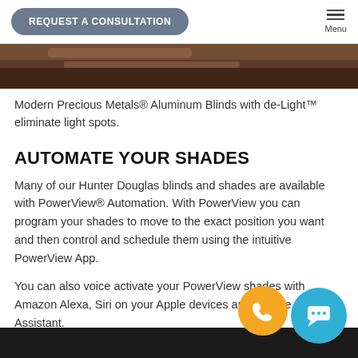REQUEST A CONSULTATION | Menu
[Figure (photo): Close-up photo of aluminum blinds/shades, dark brownish tones]
Modern Precious Metals® Aluminum Blinds with de-Light™ eliminate light spots.
AUTOMATE YOUR SHADES
Many of our Hunter Douglas blinds and shades are available with PowerView® Automation. With PowerView you can program your shades to move to the exact position you want and then control and schedule them using the intuitive PowerView App.
You can also voice activate your PowerView shades with Amazon Alexa, Siri on your Apple devices and Google Assistant.
[Figure (photo): Bottom image strip showing dark/black tones, partially visible]